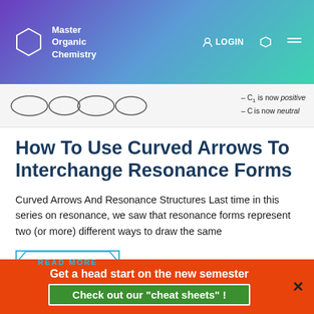Master Organic Chemistry | LOGIN
[Figure (screenshot): Partial image of organic chemistry resonance structures with text labels: '- C1 is now positive' and '- C is now neutral']
How To Use Curved Arrows To Interchange Resonance Forms
Curved Arrows And Resonance Structures Last time in this series on resonance, we saw that resonance forms represent two (or more) different ways to draw the same
READ MORE
Get a head start on the new semester
Check out our  "cheat sheets" !